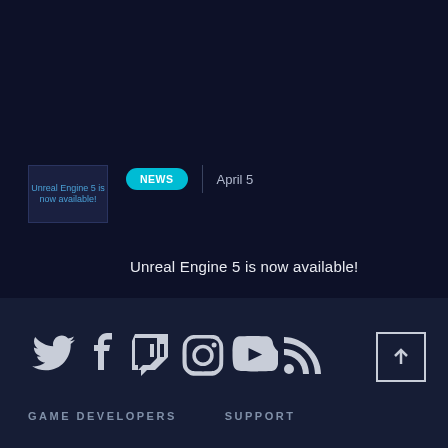[Figure (screenshot): Thumbnail image placeholder for Unreal Engine 5 article with text 'Unreal Engine 5 is now available!']
NEWS  |  April 5
Unreal Engine 5 is now available!
[Figure (infographic): Social media icons: Twitter, Facebook, Twitch, Instagram, YouTube, RSS feed]
GAME DEVELOPERS   SUPPORT